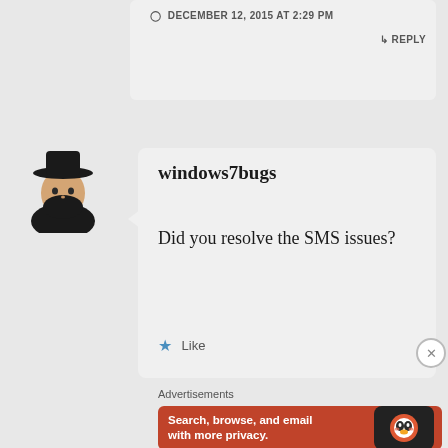DECEMBER 12, 2015 AT 2:29 PM
REPLY
[Figure (illustration): Avatar of a person wearing a black hat and black turtleneck, stylized illustration used as comment profile picture]
windows7bugs
Did you resolve the SMS issues?
Like
Advertisements
[Figure (screenshot): DuckDuckGo advertisement banner with orange background. Text reads: Search, browse, and email with more privacy. All in One Free App. Shows a phone with DuckDuckGo logo.]